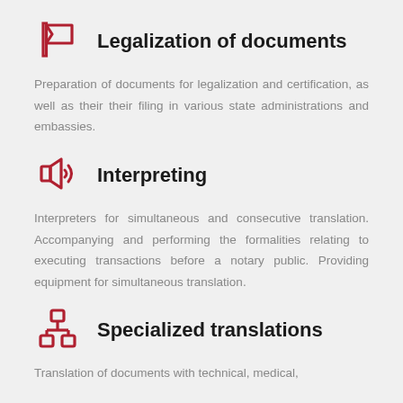Legalization of documents
Preparation of documents for legalization and certification, as well as their their filing in various state administrations and embassies.
Interpreting
Interpreters for simultaneous and consecutive translation. Accompanying and performing the formalities relating to executing transactions before a notary public. Providing equipment for simultaneous translation.
Specialized translations
Translation of documents with technical, medical,